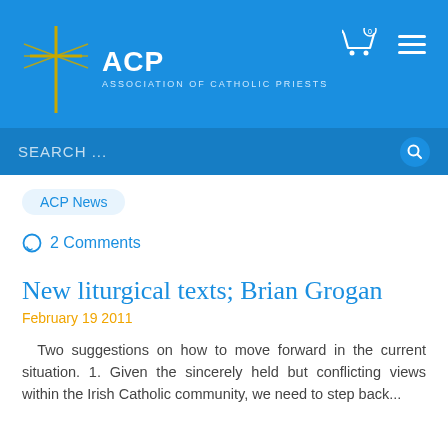[Figure (logo): ACP Association of Catholic Priests logo with blue cross and text]
SEARCH ...
ACP News
2 Comments
New liturgical texts; Brian Grogan
February 19 2011
Two suggestions on how to move forward in the current situation. 1. Given the sincerely held but conflicting views within the Irish Catholic community, we need to step back...